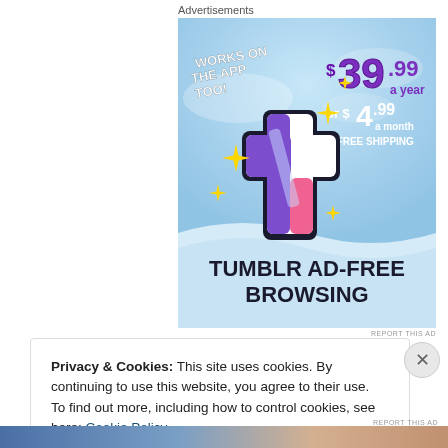Advertisements
[Figure (illustration): Tumblr Ad-Free Browsing advertisement. Sky blue background with Tumblr 't' logo in pink/purple/white. Text reads: WORKS ON THE APP TOO! $39.99 a year or $4.99 a month + FREE SHIPPING. TUMBLR AD-FREE BROWSING. Yellow sparkle stars decorating the logo.]
Privacy & Cookies: This site uses cookies. By continuing to use this website, you agree to their use.
To find out more, including how to control cookies, see here: Cookie Policy
Close and accept